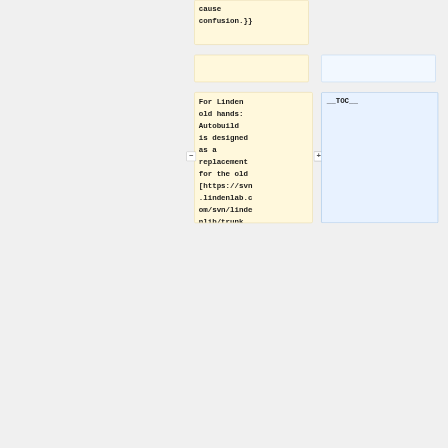cause confusion.}}
For Linden old hands: Autobuild is designed as a replacement for the old [https://svn.lindenlab.com/svn/lindenlib/trunk lindenlib] policies; doing the right thing so you don't have to
__TOC__